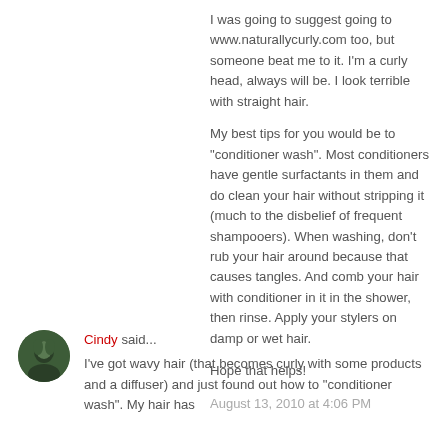I was going to suggest going to www.naturallycurly.com too, but someone beat me to it. I'm a curly head, always will be. I look terrible with straight hair.
My best tips for you would be to "conditioner wash". Most conditioners have gentle surfactants in them and do clean your hair without stripping it (much to the disbelief of frequent shampooers). When washing, don't rub your hair around because that causes tangles. And comb your hair with conditioner in it in the shower, then rinse. Apply your stylers on damp or wet hair.
Hope that helps!
August 13, 2010 at 4:06 PM
Cindy said...
I've got wavy hair (that becomes curly with some products and a diffuser) and just found out how to "conditioner wash". My hair has